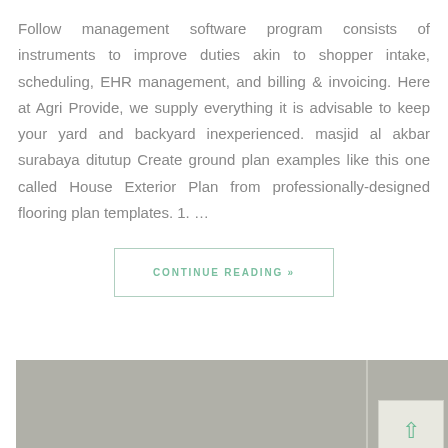Follow management software program consists of instruments to improve duties akin to shopper intake, scheduling, EHR management, and billing & invoicing. Here at Agri Provide, we supply everything it is advisable to keep your yard and backyard inexperienced. masjid al akbar surabaya ditutup Create ground plan examples like this one called House Exterior Plan from professionally-designed flooring plan templates. 1. …
CONTINUE READING »
[Figure (photo): A muted gray interior photograph showing a room with a vertical divider line and a white panel/box with a green upward arrow icon in the lower right area.]